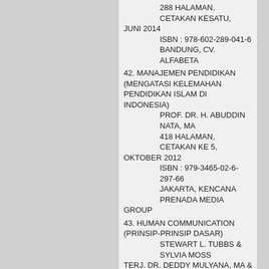288 HALAMAN, CETAKAN KESATU, JUNI 2014
    ISBN : 978-602-289-041-6
    BANDUNG, CV. ALFABETA
42. MANAJEMEN PENDIDIKAN (MENGATASI KELEMAHAN PENDIDIKAN ISLAM DI INDONESIA)
    PROF. DR. H. ABUDDIN NATA, MA
    418 HALAMAN, CETAKAN KE 5, OKTOBER 2012
    ISBN : 979-3465-02-6-297-66
    JAKARTA, KENCANA PRENADA MEDIA GROUP
43. HUMAN COMMUNICATION (PRINSIP-PRINSIP DASAR)
    STEWART L. TUBBS & SYLVIA MOSS
    TERJ. DR. DEDDY MULYANA, MA & GEMBIRASARI
    254 HALAMAN, CETAKAN KEENAM, SEPTEMBER 2012
    ISBN : 979-692-577-0
    BANDUNG, PT. REMAJA ROSDAKARYA
44. SUPERVISI PEMBELAJARAN DALAM PROFESI PENDIDIKAN
    PROF. DR. H. SYAIFUL SAGALA, M.Pd
    288 HALAMAN, CETAKAN KEDUA, MEI 2012
    ISBN : 978-602-8361-99-0
    BANDUNG, CV. ALFABETA
45. MANAJEMEN MUTU DAN ORGANISASI PERGURUAN TINGGI
    DR. AGUS ZAENUL FITRI, M.Pd
    313 HALAMAN, CETAKAN 1, SEPTEMBER 2013
    ISBN : 978-602-7824-23-2
    TULUNGAGUNG, STAIN TULUNGAGUNG PRESS
46. PENELITIAN KUALITATIF (KOMUNIKASI